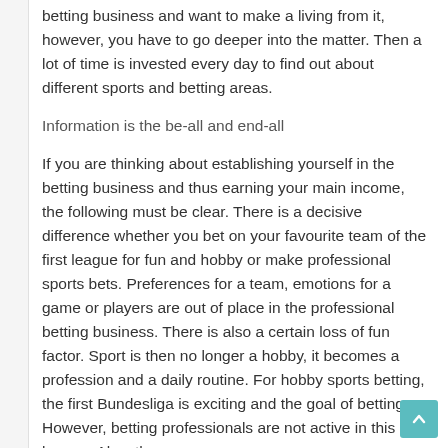betting business and want to make a living from it, however, you have to go deeper into the matter. Then a lot of time is invested every day to find out about different sports and betting areas.
Information is the be-all and end-all
If you are thinking about establishing yourself in the betting business and thus earning your main income, the following must be clear. There is a decisive difference whether you bet on your favourite team of the first league for fun and hobby or make professional sports bets. Preferences for a team, emotions for a game or players are out of place in the professional betting business. There is also a certain loss of fun factor. Sport is then no longer a hobby, it becomes a profession and a daily routine. For hobby sports betting, the first Bundesliga is exciting and the goal of betting. However, betting professionals are not active in this league. Also, the